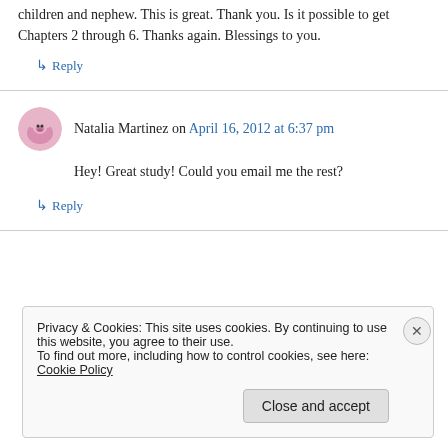children and nephew. This is great. Thank you. Is it possible to get Chapters 2 through 6. Thanks again. Blessings to you.
↳ Reply
Natalia Martinez on April 16, 2012 at 6:37 pm
Hey! Great study! Could you email me the rest?
↳ Reply
Privacy & Cookies: This site uses cookies. By continuing to use this website, you agree to their use. To find out more, including how to control cookies, see here: Cookie Policy
Close and accept